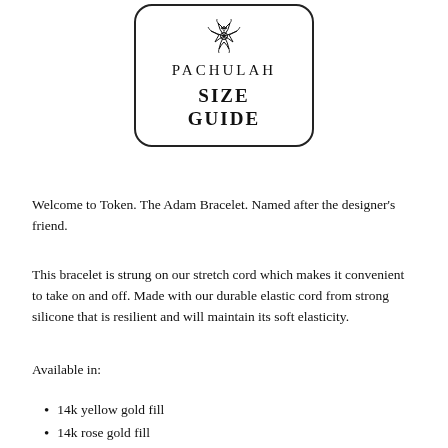[Figure (logo): Pachulah logo with hibiscus flower icon, brand name PACHULAH, and text SIZE GUIDE inside a rounded rectangle border]
Welcome to Token. The Adam Bracelet. Named after the designer's friend.
This bracelet is strung on our stretch cord which makes it convenient to take on and off. Made with our durable elastic cord from strong silicone that is resilient and will maintain its soft elasticity.
Available in:
14k yellow gold fill
14k rose gold fill